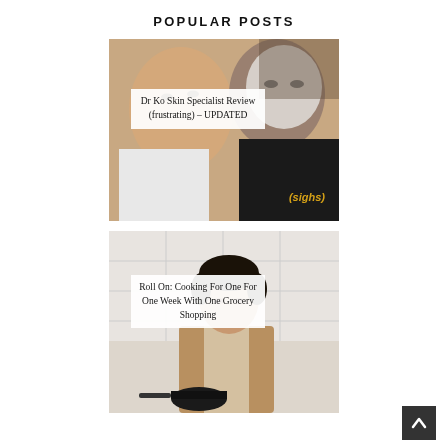POPULAR POSTS
[Figure (photo): Two people, one wearing a white face mask, close-up selfie style photo with text overlay '(sighs)' in yellow italic. Post title overlay reads 'Dr Ko Skin Specialist Review (frustrating) – UPDATED']
[Figure (photo): Young man with short dark hair in a kitchen setting holding a pan, wearing a brown jacket. Post title overlay reads 'Roll On: Cooking For One For One Week With One Grocery Shopping']